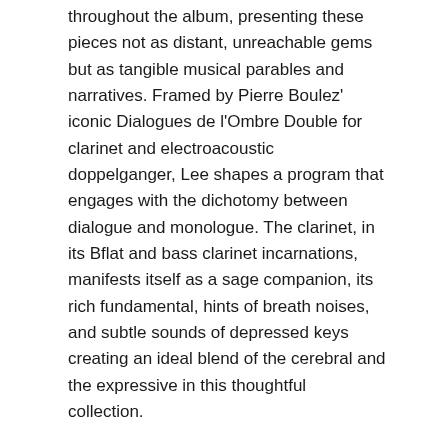throughout the album, presenting these pieces not as distant, unreachable gems but as tangible musical parables and narratives. Framed by Pierre Boulez' iconic Dialogues de l'Ombre Double for clarinet and electroacoustic doppelganger, Lee shapes a program that engages with the dichotomy between dialogue and monologue. The clarinet, in its Bflat and bass clarinet incarnations, manifests itself as a sage companion, its rich fundamental, hints of breath noises, and subtle sounds of depressed keys creating an ideal blend of the cerebral and the expressive in this thoughtful collection.
The opening track, Dai Fujikura's Contour for bass clarinet versions, was originally written for tuba in 2018 and revised in contrabass clarinet and bass clarinet versions in 2020, begins the album with a monologue. Flowing lines undulate up and down, the gravity of the melodic contour occasionally accelerating the pace towards a goal note. A passage of repeated double tongued pitches opens into a contrasting section that is more impetuous, eventually highlighting playfully syncopated rhythms. The piece ends with an